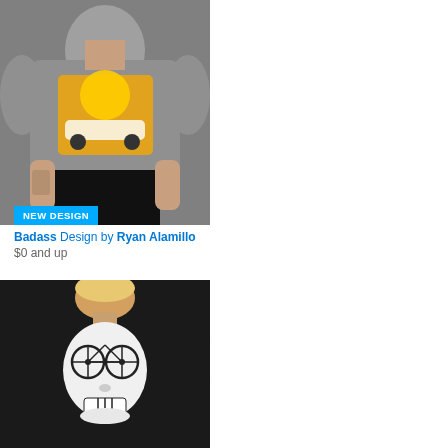[Figure (photo): Woman wearing a grey t-shirt with a retro car racing graphic design, hands in pockets]
NEW DESIGN
Badass Design by Ryan Alamillo
$0 and up
[Figure (photo): Woman wearing a black t-shirt with a skull and bicycle graphic design]